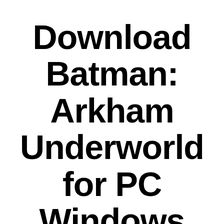Download Batman: Arkham Underworld for PC Windows 10,8,7
KANE DANE – OCTOBER 11, 2021